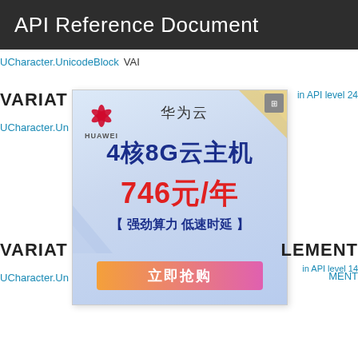API Reference Document
UCharacter.UnicodeBlock  VAI
VARIAT
in API level 24
UCharacter.Un
[Figure (infographic): Huawei Cloud advertisement banner showing: logo, brand name '华为云', headline '4核8G云主机', price '746元/年', slogan '【强劲算力 低速时延】', button '立即抢购']
VARIAT
LEMENT
in API level 14
UCharacter.Un
MENT